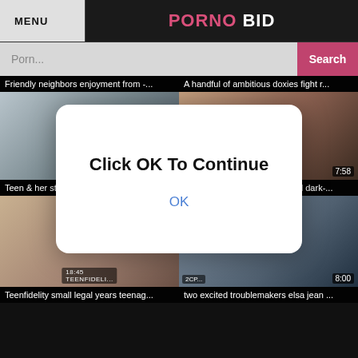MENU | PORNO BID
Porn... Search
Friendly neighbors enjoyment from -...
A handful of ambitious doxies fight r...
[Figure (screenshot): Video thumbnail grid with modal overlay dialog saying Click OK To Continue with OK button]
Teen & her stepmom try to outdo each other
bambino fucks one sex-crazed dark-...
Teenfidelity small legal years teenag...
two excited troublemakers elsa jean ...